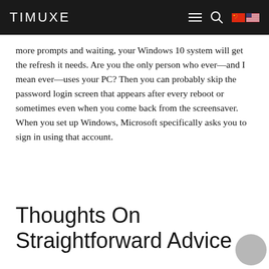TIMUXE
more prompts and waiting, your Windows 10 system will get the refresh it needs. Are you the only person who ever—and I mean ever—uses your PC? Then you can probably skip the password login screen that appears after every reboot or sometimes even when you come back from the screensaver. When you set up Windows, Microsoft specifically asks you to sign in using that account.
Thoughts On Straightforward Advice For Di…